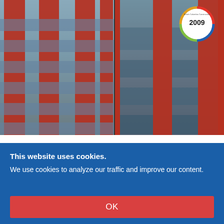[Figure (photo): Photograph of Woodwards Building W Tower showing distinctive red lattice facade columns with glass windows and balconies. A circular award badge for 2009 (British Columbia Construction Association or similar) is overlaid in the top right corner.]
Woodwards Building W Tower
This website uses cookies. We use cookies to analyze our traffic and improve our content.
OK